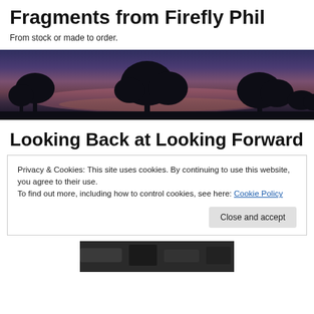Fragments from Firefly Phil
From stock or made to order.
[Figure (photo): A twilight/dusk landscape photograph showing dark silhouettes of trees against a purple-blue sky with pink and orange hues near the horizon.]
Looking Back at Looking Forward
Privacy & Cookies: This site uses cookies. By continuing to use this website, you agree to their use.
To find out more, including how to control cookies, see here: Cookie Policy

Close and accept
[Figure (photo): Partial view of a second photograph at the bottom of the page, appearing to show a rocky or natural outdoor scene.]